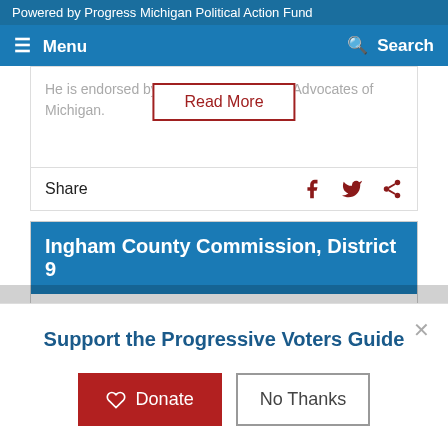Powered by Progress Michigan Political Action Fund
≡ Menu   🔍 Search
He is endorsed by Planned Parenthood Advocates of Michigan.
Read More
Share
Ingham County Commission, District 9
DEMOCRAT
Erin Graham
Support the Progressive Voters Guide
Donate   No Thanks